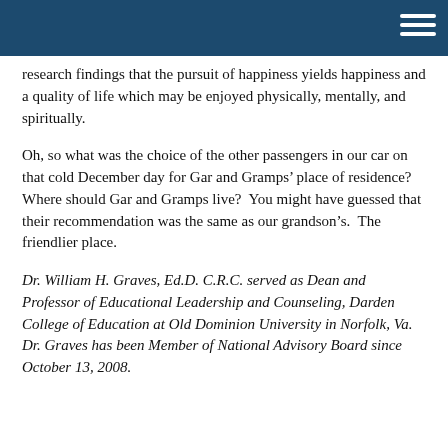research findings that the pursuit of happiness yields happiness and a quality of life which may be enjoyed physically, mentally, and spiritually.
Oh, so what was the choice of the other passengers in our car on that cold December day for Gar and Gramps’ place of residence?    Where should Gar and Gramps live?  You might have guessed that their recommendation was the same as our grandson’s.  The friendlier place.
Dr. William H. Graves, Ed.D. C.R.C. served as Dean and Professor of Educational Leadership and Counseling, Darden College of Education at Old Dominion University in Norfolk, Va. Dr. Graves has been Member of National Advisory Board since October 13, 2008.